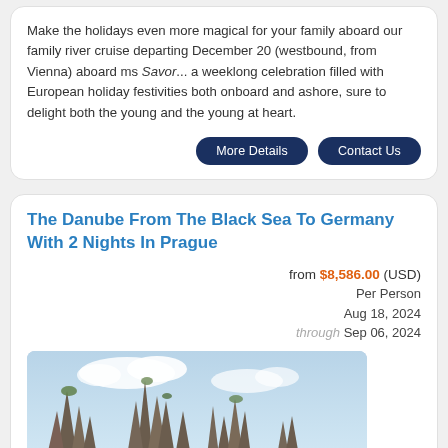Make the holidays even more magical for your family aboard our family river cruise departing December 20 (westbound, from Vienna) aboard ms Savor... a weeklong celebration filled with European holiday festivities both onboard and ashore, sure to delight both the young and the young at heart.
More Details | Contact Us
The Danube From The Black Sea To Germany With 2 Nights In Prague
from $8,586.00 (USD) Per Person Aug 18, 2024 through Sep 06, 2024
[Figure (photo): Photo of rocky formations or castle ruins against a partly cloudy sky]